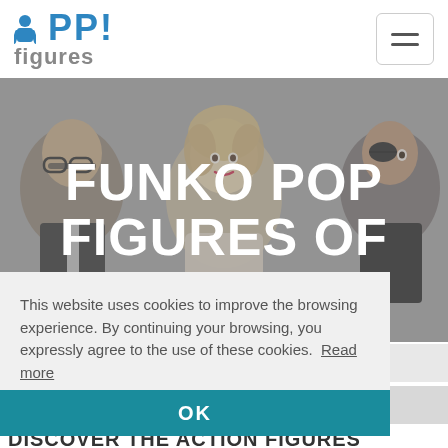POP! figures
[Figure (photo): Hero banner showing Funko Pop figures including characters with glasses, a blonde figure (Marilyn Monroe style), and a figure with an eye patch, with large white text overlay reading FUNKO POP FIGURES OF]
This website uses cookies to improve the browsing experience. By continuing your browsing, you expressly agree to the use of these cookies.  Read more
OK
DISCOVER THE ACTION FIGURES